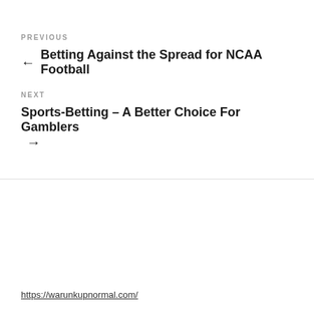PREVIOUS
← Betting Against the Spread for NCAA Football
NEXT
Sports-Betting – A Better Choice For Gamblers →
https://warunkupnormal.com/